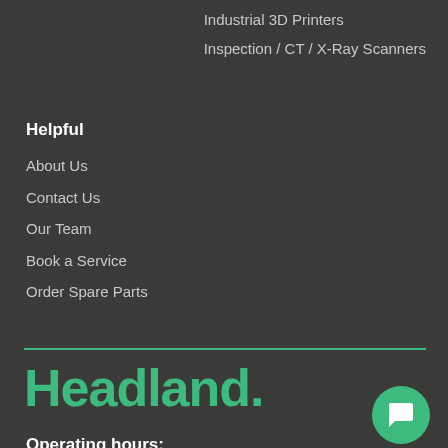Industrial 3D Printers
Inspection / CT / X-Ray Scanners
Helpful
About Us
Contact Us
Our Team
Book a Service
Order Spare Parts
Headland.
Operating hours:
Mon-Fri 8am-6pm
1300 592 061